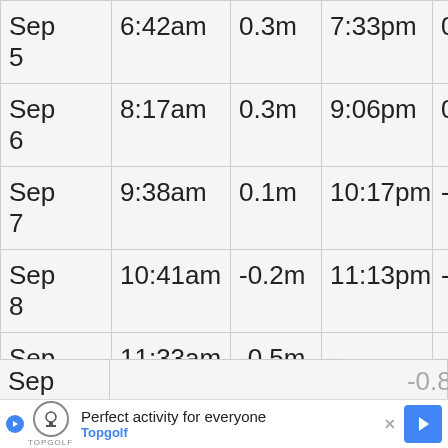| Date | Low Tide Time | Low Tide Height | High Tide Time | High Tide Height |
| --- | --- | --- | --- | --- |
| Sep 5 | 6:42am | 0.3m | 7:33pm | 0.3 |
| Sep 6 | 8:17am | 0.3m | 9:06pm | 0.2 |
| Sep 7 | 9:38am | 0.1m | 10:17pm | -0.1 |
| Sep 8 | 10:41am | -0.2m | 11:13pm | -0.4 |
| Sep 9 | 11:33am | -0.5m | - | - |
| Sep 10 | 12:01am | -0.6m | 12:19pm | -0.7 |
| Sep... | ... | ... | ... | -0.8 |
[Figure (other): Advertisement banner for Topgolf: 'Perfect activity for everyone' with Topgolf logo and navigation arrow button]